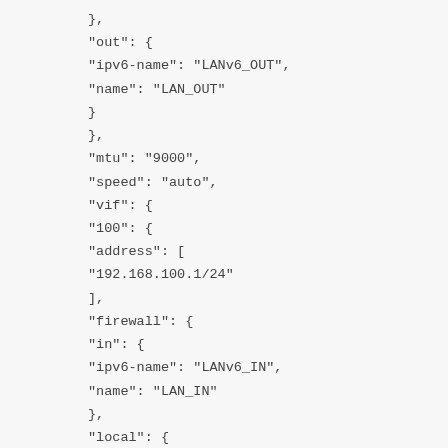},
"out": {
"ipv6-name": "LANv6_OUT",
"name": "LAN_OUT"
}
},
"mtu": "9000",
"speed": "auto",
"vif": {
"100": {
"address": [
"192.168.100.1/24"
],
"firewall": {
"in": {
"ipv6-name": "LANv6_IN",
"name": "LAN_IN"
},
"local": {
"ipv6-name": "LANv6_LOCAL",